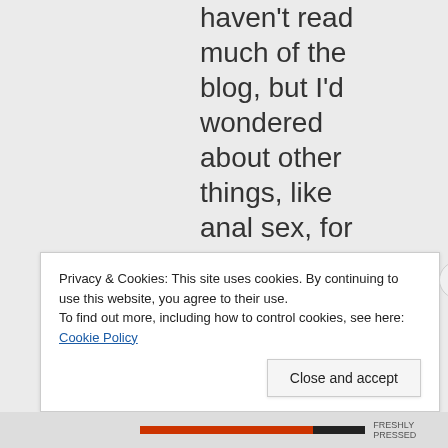haven't read much of the blog, but I'd wondered about other things, like anal sex, for example, and whether or not there was
Privacy & Cookies: This site uses cookies. By continuing to use this website, you agree to their use.
To find out more, including how to control cookies, see here: Cookie Policy
Close and accept